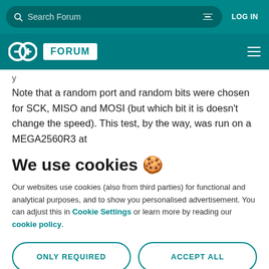Search Forum | LOG IN
[Figure (logo): Arduino Forum logo with two overlapping circles and FORUM text]
y
Note that a random port and random bits were chosen for SCK, MISO and MOSI (but which bit it is doesn’t change the speed). This test, by the way, was run on a MEGA2560R3 at
We use cookies 🍪
Our websites use cookies (also from third parties) for functional and analytical purposes, and to show you personalised advertisement. You can adjust this in Cookie Settings or learn more by reading our cookie policy.
ONLY REQUIRED
ACCEPT ALL